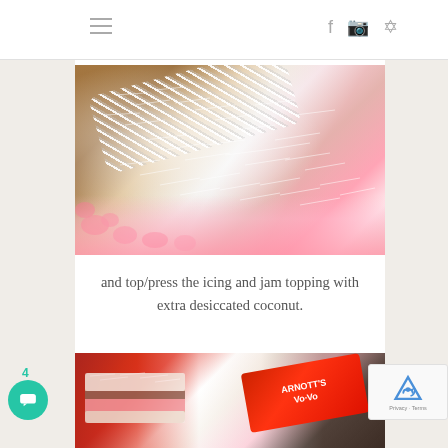Navigation header with hamburger menu and social icons (Facebook, Instagram, Pinterest)
[Figure (photo): Close-up photo of a baked good (possibly lamington or similar) topped with pink icing and generously covered with shredded/desiccated coconut on a wooden board]
and top/press the icing and jam topping with extra desiccated coconut.
[Figure (photo): Photo of Arnott's biscuit package (red packaging) alongside what appears to be coconut-covered lamington slices on a wooden board]